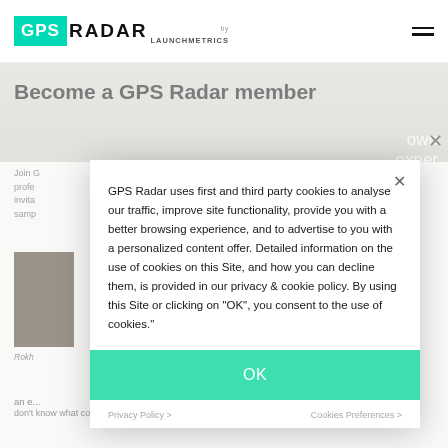GPS RADAR by LAUNCHMETRICS
Become a GPS Radar member
Join G... profe... invita... samp...
GPS Radar uses first and third party cookies to analyse our traffic, improve site functionality, provide you with a better browsing experience, and to advertise to you with a personalized content offer. Detailed information on the use of cookies on this Site, and how you can decline them, is provided in our privacy & cookie policy. By using this Site or clicking on "OK", you consent to the use of cookies."
OK
Privacy Policy >
Cookies Preferences >
Rokh...
an e...
don't know what could be achieved. To have the...